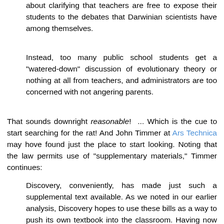about clarifying that teachers are free to expose their students to the debates that Darwinian scientists have among themselves.
Instead, too many public school students get a "watered-down" discussion of evolutionary theory or nothing at all from teachers, and administrators are too concerned with not angering parents.
That sounds downright reasonable! ... Which is the cue to start searching for the rat! And John Timmer at Ars Technica may hove found just the place to start looking. Noting that the law permits use of "supplementary materials," Timmer continues:
Discovery, conveniently, has made just such a supplemental text available. As we noted in our earlier analysis, Discovery hopes to use these bills as a way to push its own textbook into the classroom. Having now read the text of the book, it is clear that our earlier analysis was correct; the book badly misrepresents the scientific